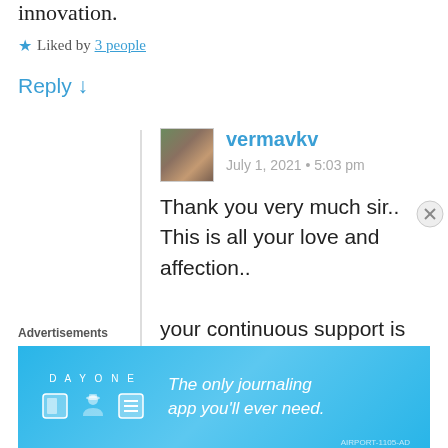innovation.
★ Liked by 3 people
Reply ↓
[Figure (photo): Small avatar photo of user vermavkv showing a person outdoors with greenery background]
vermavkv
July 1, 2021 • 5:03 pm
Thank you very much sir.. This is all your love and affection..

your continuous support is
Advertisements
[Figure (screenshot): DAY ONE journaling app advertisement banner with blue background, app icons, and text 'The only journaling app you'll ever need.']